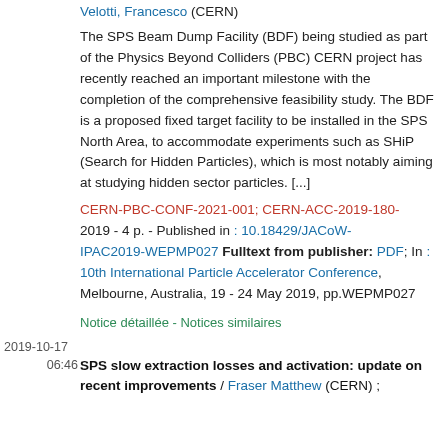Velotti, Francesco (CERN) ; (CERN) ; Velotti, Francesco (CERN)
The SPS Beam Dump Facility (BDF) being studied as part of the Physics Beyond Colliders (PBC) CERN project has recently reached an important milestone with the completion of the comprehensive feasibility study. The BDF is a proposed fixed target facility to be installed in the SPS North Area, to accommodate experiments such as SHiP (Search for Hidden Particles), which is most notably aiming at studying hidden sector particles. [...]
CERN-PBC-CONF-2021-001; CERN-ACC-2019-180- 2019 - 4 p. - Published in : 10.18429/JACoW-IPAC2019-WEPMP027 Fulltext from publisher: PDF; In : 10th International Particle Accelerator Conference, Melbourne, Australia, 19 - 24 May 2019, pp.WEPMP027
Notice détaillée - Notices similaires
2019-10-17
06:46
SPS slow extraction losses and activation: update on recent improvements / Fraser Matthew (CERN) ;